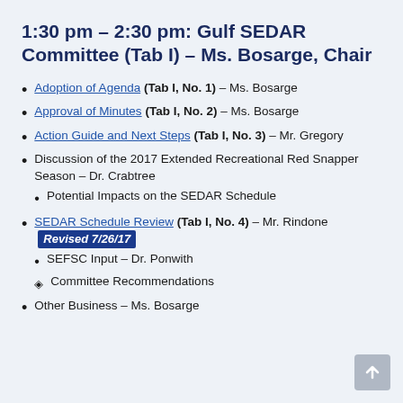1:30 pm – 2:30 pm: Gulf SEDAR Committee (Tab I) – Ms. Bosarge, Chair
Adoption of Agenda (Tab I, No. 1) – Ms. Bosarge
Approval of Minutes (Tab I, No. 2) – Ms. Bosarge
Action Guide and Next Steps (Tab I, No. 3) – Mr. Gregory
Discussion of the 2017 Extended Recreational Red Snapper Season – Dr. Crabtree
Potential Impacts on the SEDAR Schedule
SEDAR Schedule Review (Tab I, No. 4) – Mr. Rindone Revised 7/26/17
SEFSC Input – Dr. Ponwith
Committee Recommendations
Other Business – Ms. Bosarge